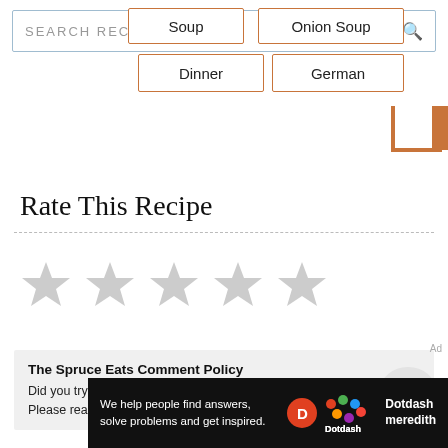SEARCH RECIPES & MORE
Soup
Onion Soup
Dinner
German
Rate This Recipe
[Figure (other): Five empty/unfilled star rating icons in a row]
The Spruce Eats Comment Policy
Did you try this recipe? How did it go?
Please read our Comment Policy before commenting.
We help people find answers, solve problems and get inspired. Dotdash meredith